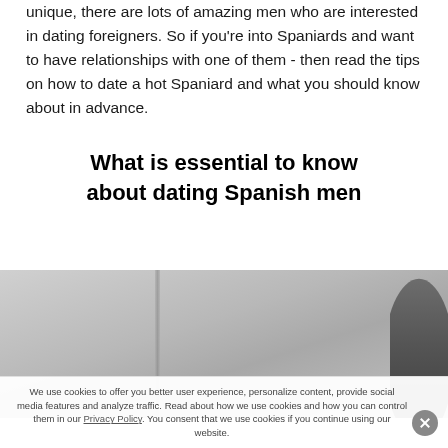unique, there are lots of amazing men who are interested in dating foreigners. So if you're into Spaniards and want to have relationships with one of them - then read the tips on how to date a hot Spaniard and what you should know about in advance.
What is essential to know about dating Spanish men
[Figure (photo): Photo of a man, partially visible, against a blurred indoor background with a vertical divider/column visible.]
We use cookies to offer you better user experience, personalize content, provide social media features and analyze traffic. Read about how we use cookies and how you can control them in our Privacy Policy. You consent that we use cookies if you continue using our website.